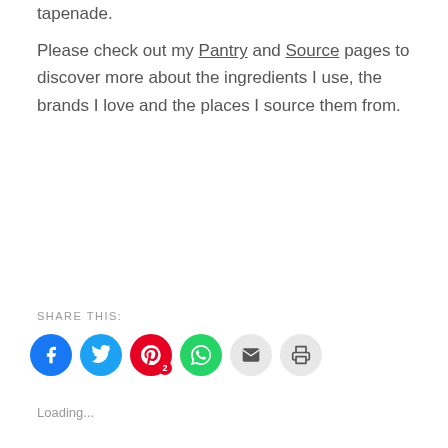tapenade.
Please check out my Pantry and Source pages to discover more about the ingredients I use, the brands I love and the places I source them from.
SHARE THIS:
[Figure (infographic): Social share buttons: Facebook, Twitter, Pinterest (with badge showing 2), WhatsApp, Email, Print]
Loading...